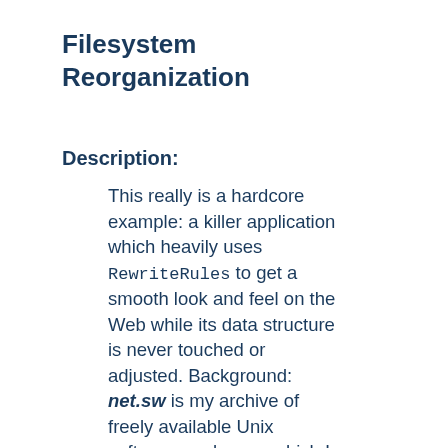Filesystem Reorganization
Description:
This really is a hardcore example: a killer application which heavily uses RewriteRules to get a smooth look and feel on the Web while its data structure is never touched or adjusted. Background: net.sw is my archive of freely available Unix software packages, which I started to collect in 1992. It is both my hobby and